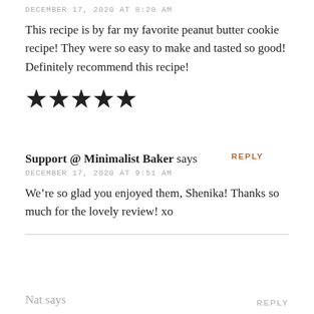DECEMBER 17, 2020 AT 8:20 AM
This recipe is by far my favorite peanut butter cookie recipe! They were so easy to make and tasted so good! Definitely recommend this recipe!
[Figure (other): Five filled black star rating icons]
Support @ Minimalist Baker says
DECEMBER 17, 2020 AT 9:51 AM
We’re so glad you enjoyed them, Shenika! Thanks so much for the lovely review! xo
Nat says